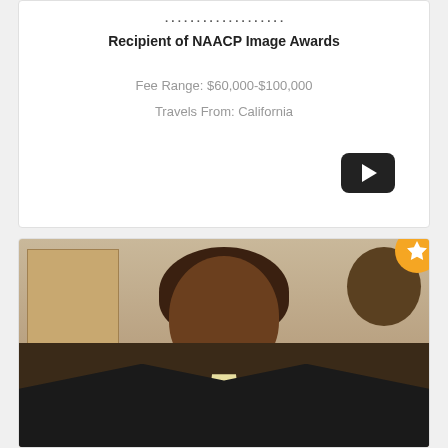Recipient of NAACP Image Awards
Fee Range: $60,000-$100,000
Travels From: California
[Figure (other): YouTube play button icon on black rounded rectangle]
[Figure (photo): Professional headshot photo of a woman with curly brown hair wearing a black blazer over a floral shirt, posed in an office setting with wall plaques and a bulletin board visible in the background. A gold star badge overlays the top-right corner of the image.]